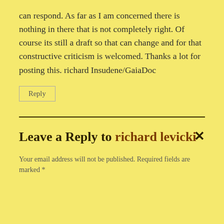can respond. As far as I am concerned there is nothing in there that is not completely right. Of course its still a draft so that can change and for that constructive criticism is welcomed. Thanks a lot for posting this. richard Insudene/GaiaDoc
Reply
Leave a Reply to richard levicki ×
Your email address will not be published. Required fields are marked *